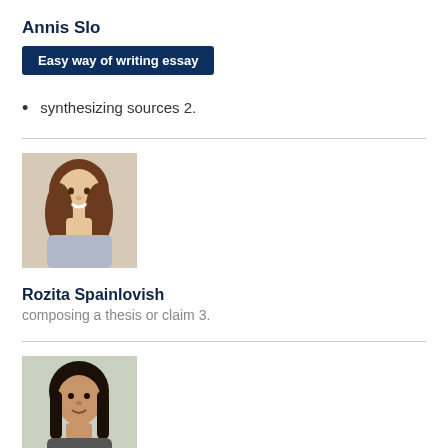Annis Slo
Easy way of writing essay
synthesizing sources 2.
[Figure (photo): Portrait photo of a young woman with long brown hair, smiling]
Rozita Spainlovish
composing a thesis or claim 3.
[Figure (photo): Portrait photo of a young woman with dark hair]
Case study of ibm